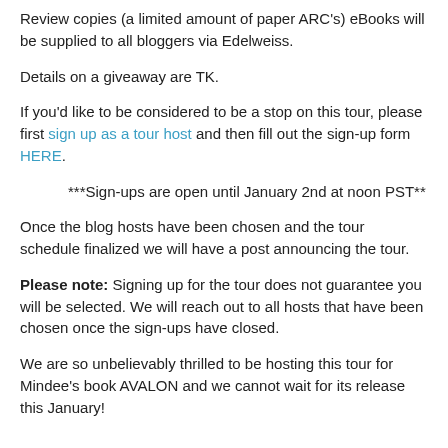Review copies (a limited amount of paper ARC's) eBooks will be supplied to all bloggers via Edelweiss.
Details on a giveaway are TK.
If you'd like to be considered to be a stop on this tour, please first sign up as a tour host and then fill out the sign-up form HERE.
***Sign-ups are open until January 2nd at noon PST**
Once the blog hosts have been chosen and the tour schedule finalized we will have a post announcing the tour.
Please note: Signing up for the tour does not guarantee you will be selected. We will reach out to all hosts that have been chosen once the sign-ups have closed.
We are so unbelievably thrilled to be hosting this tour for Mindee's book AVALON and we cannot wait for its release this January!